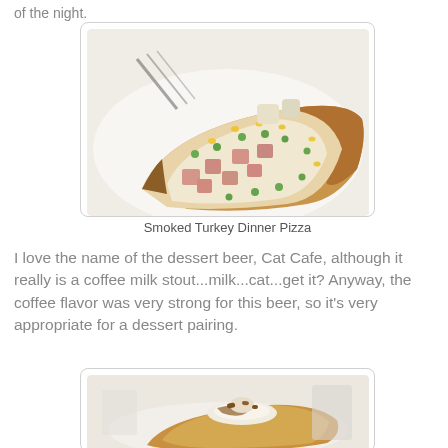of the night.
[Figure (photo): A slice of smoked turkey dinner pizza on a white plate with ham cubes, peas, corn, and cheese toppings]
Smoked Turkey Dinner Pizza
I love the name of the dessert beer, Cat Cafe, although it really is a coffee milk stout...milk...cat...get it? Anyway, the coffee flavor was very strong for this beer, so it's very appropriate for a dessert pairing.
[Figure (photo): A slice of dessert pizza with cream and toppings on a plate]